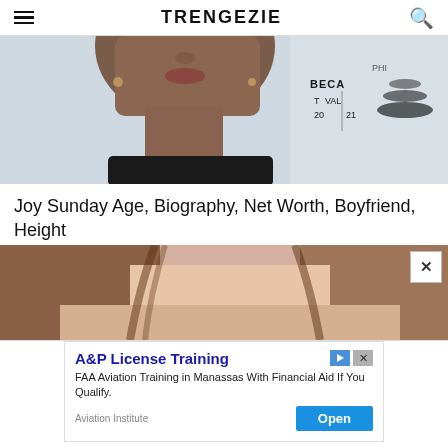TRENGEZIE
[Figure (photo): Cropped photo of a woman at Tribeca Film Festival 2021, showing lower face and neck, dark turtleneck, Tribeca Festival logo visible in background]
Joy Sunday Age, Biography, Net Worth, Boyfriend, Height
[Figure (photo): Cropped photo of a woman with long brown hair, showing neck and upper chest area]
A&P License Training
FAA Aviation Training in Manassas With Financial Aid If You Qualify.
Aviation Institute
Open